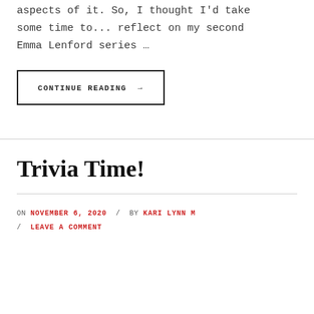aspects of it. So, I thought I'd take some time to... reflect on my second Emma Lenford series …
CONTINUE READING →
Trivia Time!
ON NOVEMBER 6, 2020 / BY KARI LYNN M / LEAVE A COMMENT